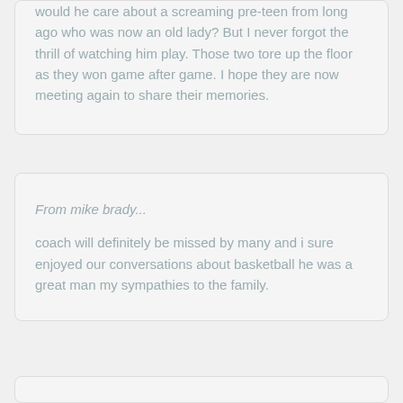would he care about a screaming pre-teen from long ago who was now an old lady? But I never forgot the thrill of watching him play. Those two tore up the floor as they won game after game. I hope they are now meeting again to share their memories.
From mike brady...
coach will definitely be missed by many and i sure enjoyed our conversations about basketball he was a great man my sympathies to the family.